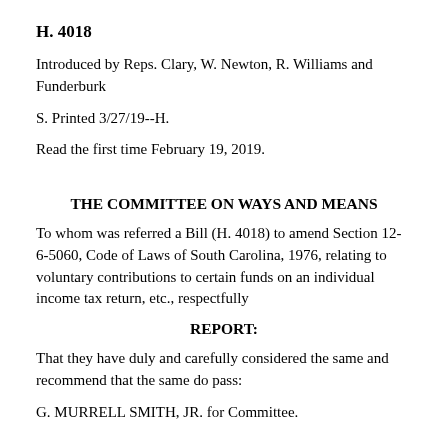H. 4018
Introduced by Reps. Clary, W. Newton, R. Williams and Funderburk
S. Printed 3/27/19--H.
Read the first time February 19, 2019.
THE COMMITTEE ON WAYS AND MEANS
To whom was referred a Bill (H. 4018) to amend Section 12-6-5060, Code of Laws of South Carolina, 1976, relating to voluntary contributions to certain funds on an individual income tax return, etc., respectfully
REPORT:
That they have duly and carefully considered the same and recommend that the same do pass:
G. MURRELL SMITH, JR. for Committee.